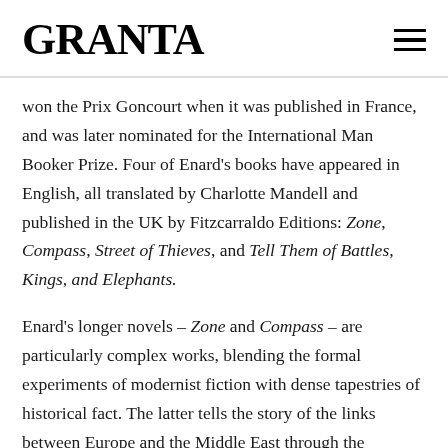GRANTA
won the Prix Goncourt when it was published in France, and was later nominated for the International Man Booker Prize. Four of Enard's books have appeared in English, all translated by Charlotte Mandell and published in the UK by Fitzcarraldo Editions: Zone, Compass, Street of Thieves, and Tell Them of Battles, Kings, and Elephants.
Enard's longer novels – Zone and Compass – are particularly complex works, blending the formal experiments of modernist fiction with dense tapestries of historical fact. The latter tells the story of the links between Europe and the Middle East through the nighttime peregrinations of a lovesick Austrian musicologist, Franz Ritter. The former is an almost single-sentence novel of over 500 pages, which journeys through a legacy of violence on and around the